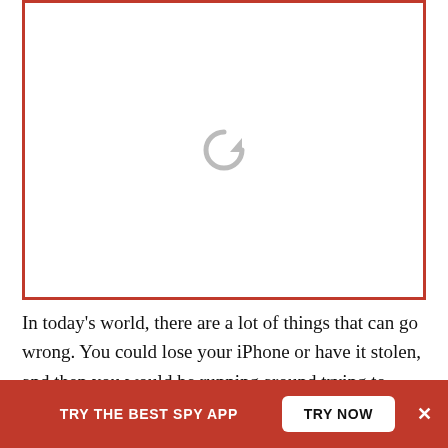[Figure (other): Image placeholder with red border and a reload/refresh icon in the center, indicating an image that failed to load.]
In today's world, there are a lot of things that can go wrong. You could lose your iPhone or have it stolen, and then you would be running around trying to find...
TRY THE BEST SPY APP
TRY NOW
×